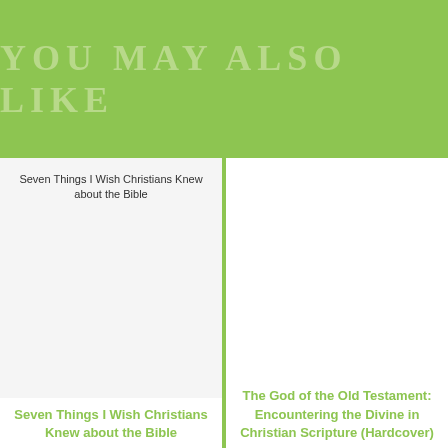YOU MAY ALSO LIKE
[Figure (photo): Broken image placeholder for 'Seven Things I Wish Christians Knew about the Bible' book cover]
Seven Things I Wish Christians Knew about the Bible
The God of the Old Testament: Encountering the Divine in Christian Scripture (Hardcover)